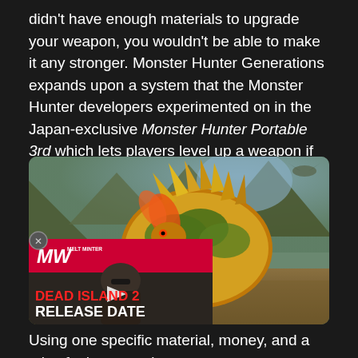didn't have enough materials to upgrade your weapon, you wouldn't be able to make it any stronger. Monster Hunter Generations expands upon a system that the Monster Hunter developers experimented on in the Japan-exclusive Monster Hunter Portable 3rd which lets players level up a weapon if they either don't want to upgrade it or simply can't.
[Figure (screenshot): Screenshot from a Monster Hunter game showing a large yellow/green armored monster creature in a rocky outdoor environment. An overlay advertisement for 'Dead Island 2 Release Date' from MilliWave (MW) is visible in the bottom-left corner with a video thumbnail and play button. A small close button (X) is on the left side.]
Using one specific material, money, and a mix of other generic